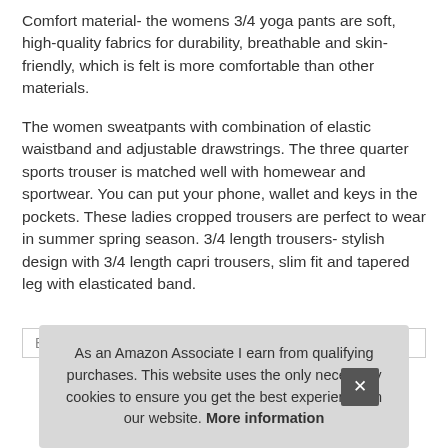Comfort material- the womens 3/4 yoga pants are soft, high-quality fabrics for durability, breathable and skin-friendly, which is felt is more comfortable than other materials.
The women sweatpants with combination of elastic waistband and adjustable drawstrings. The three quarter sports trouser is matched well with homewear and sportwear. You can put your phone, wallet and keys in the pockets. These ladies cropped trousers are perfect to wear in summer spring season. 3/4 length trousers- stylish design with 3/4 length capri trousers, slim fit and tapered leg with elasticated band.
| Brand | Ubiuty |
| --- | --- |
As an Amazon Associate I earn from qualifying purchases. This website uses the only necessary cookies to ensure you get the best experience on our website. More information